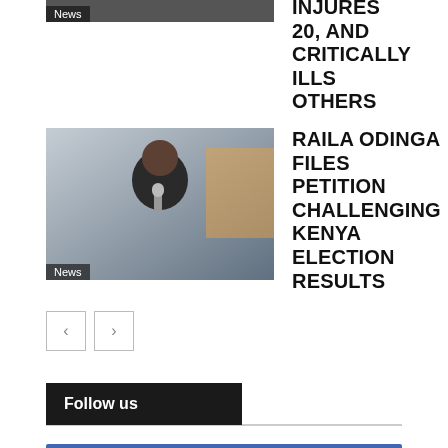INJURES 20, AND CRITICALLY ILLS OTHERS
[Figure (photo): Thumbnail image with News tag label, partially cropped at top]
[Figure (photo): Photo of Raila Odinga speaking into microphone, with News tag label]
RAILA ODINGA FILES PETITION CHALLENGING KENYA ELECTION RESULTS
< >
Follow us
82,231  Fans  LIKE
727  Followers  FOLLOW
1,840  Subscribers  SUBSCRIBE